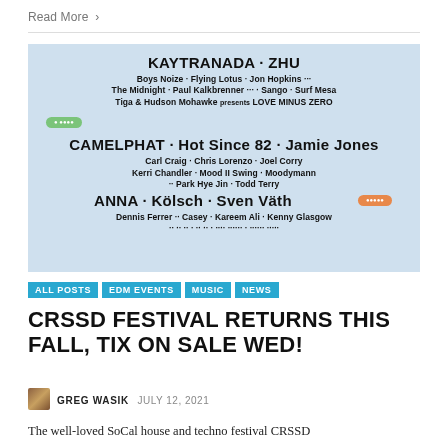Read More >
[Figure (photo): Festival lineup poster for CRSSD Festival showing artist names including KAYTRANADA, ZHU, Boys Noize, Flying Lotus, Jon Hopkins, The Midnight, Paul Kalkbrenner, Sango, Surf Mesa, Tiga & Hudson Mohawke, CAMELPHAT, Hot Since 82, Jamie Jones, Carl Craig, Chris Lorenzo, Joel Corry, Kerri Chandler, Mood II Swing, Moodymann, Park Hye Jin, Todd Terry, ANNA, Kölsch, Sven Väth, Dennis Ferrer, Casey, Kareem Ali, Kenny Glasgow]
ALL POSTS
EDM EVENTS
MUSIC
NEWS
CRSSD FESTIVAL RETURNS THIS FALL, TIX ON SALE WED!
GREG WASIK   JULY 12, 2021
The well-loved SoCal house and techno festival CRSSD